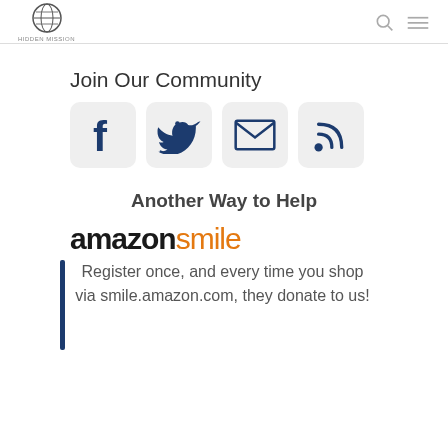Hidden Mission (logo) | search icon | menu icon
Join Our Community
[Figure (infographic): Four social media icon buttons: Facebook (f), Twitter/bird, Email (envelope), RSS feed]
Another Way to Help
[Figure (logo): Amazon Smile logo — 'amazon' in black bold, 'smile' in orange]
Register once, and every time you shop via smile.amazon.com, they donate to us!